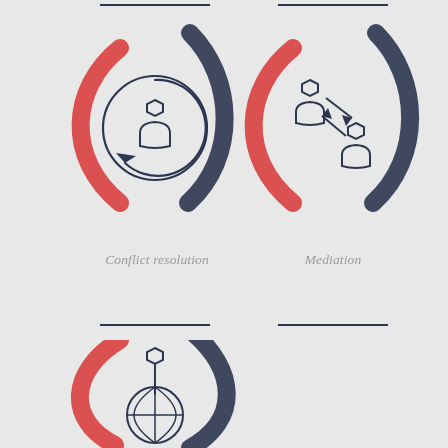[Figure (infographic): Icon showing a person with circular arrow (conflict resolution), framed by red and dark blue swoosh shapes]
Conflict resolution
[Figure (infographic): Icon showing two people exchanging/swapping positions with arrows (mediation), framed by red and dark blue swoosh shapes]
Mediation
[Figure (infographic): Icon showing a person standing next to a globe (international/global), framed by red and dark blue swoosh shapes]